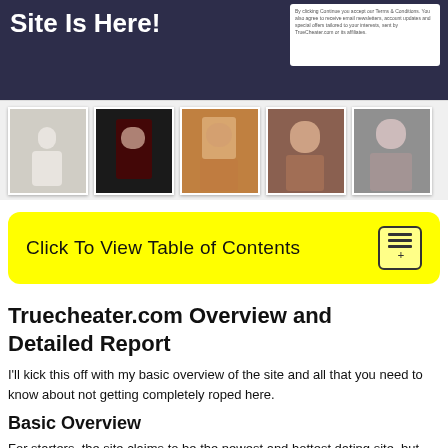[Figure (screenshot): Top banner of a website with dark navy/purple background, white headline text partially visible, and a white inset box with small text on the right side.]
[Figure (photo): A horizontal strip of five profile/person thumbnail photos on a light gray background.]
Click To View Table of Contents
Truecheater.com Overview and Detailed Report
I'll kick this off with my basic overview of the site and all that you need to know about not getting completely roped here.
Basic Overview
For starters, the site claims to be the newest and hottest dating site, but based on my look at the...